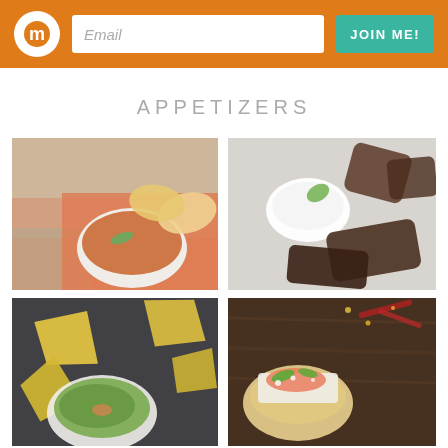Email | JOIN ME!
APPETIZERS
[Figure (photo): Bowl of vegetable salsa with tortilla chips on an orange napkin and newspaper]
[Figure (photo): Dark breaded chicken pieces with white dipping sauce and lime garnish]
[Figure (photo): Tortilla chips scattered around a bowl of guacamole on dark surface]
[Figure (photo): Tacos with toppings on a dark wooden background with dried chili peppers]